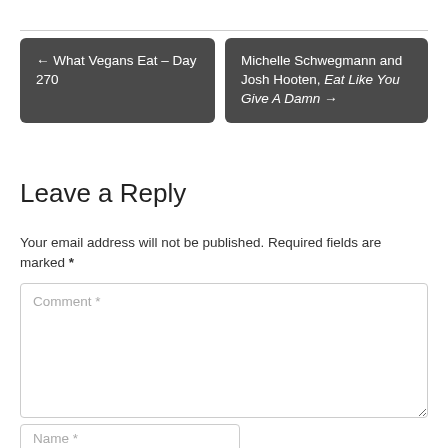← What Vegans Eat – Day 270
Michelle Schwegmann and Josh Hooten, Eat Like You Give A Damn →
Leave a Reply
Your email address will not be published. Required fields are marked *
Comment *
Name *